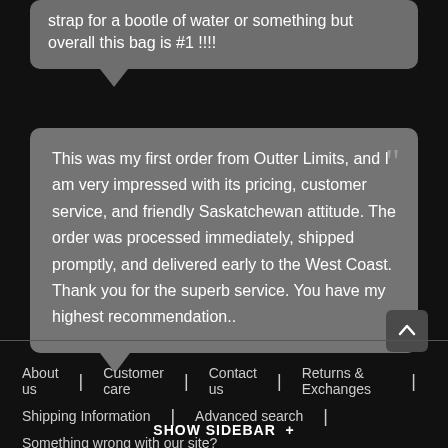strap for a bootle of water or something but overall this bag is #1 !!!!
This was my first order from Outter Limits, and I am very impressed with its pricing, customer service, and friendly Saskatchewan attitude. The order was processed immediately, shipped promptly, and delivered early to the West Coast. Thank you for the superb service. You have my highest recommendation..
About us
Customer care
Contact us
Returns & Exchanges
Shipping Information
Advanced search
Something wrong with our site?
SHOW SIDEBAR +